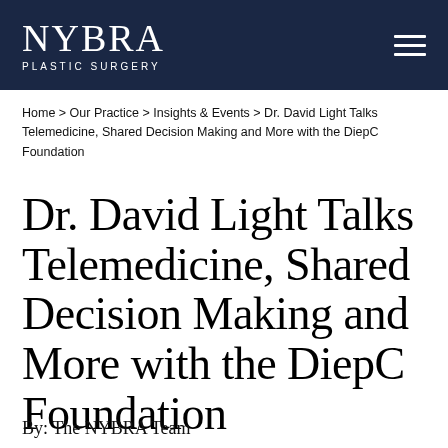NYBRA PLASTIC SURGERY
Home > Our Practice > Insights & Events > Dr. David Light Talks Telemedicine, Shared Decision Making and More with the DiepC Foundation
Dr. David Light Talks Telemedicine, Shared Decision Making and More with the DiepC Foundation
By: The NYBRA Team